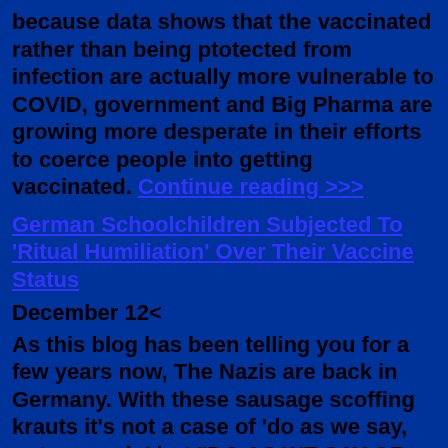because data shows that the vaccinated rather than being ptotected from infection are actually more vulnerable to COVID, government and Big Pharma are growing more desperate in their efforts to coerce people into getting vaccinated. Continue reading >>>
German Schoolchildren Subjected To 'Ritual Humiliation' Over Their Vaccine Status
December 12<
As this blog has been telling you for a few years now, The Nazis are back in Germany. With these sausage scoffing krauts it's not a case of 'do as we say, not as we do' but "DO AS WE SAY OR D...